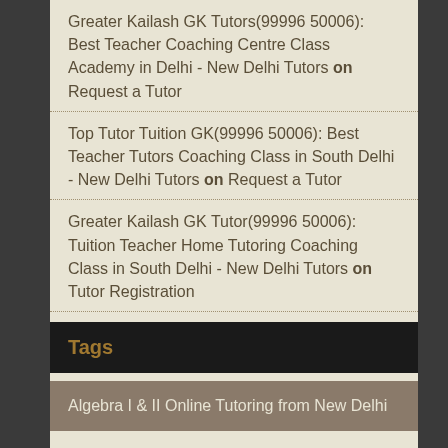Greater Kailash GK Tutors(99996 50006): Best Teacher Coaching Centre Class Academy in Delhi - New Delhi Tutors on Request a Tutor
Top Tutor Tuition GK(99996 50006): Best Teacher Tutors Coaching Class in South Delhi - New Delhi Tutors on Request a Tutor
Greater Kailash GK Tutor(99996 50006): Tuition Teacher Home Tutoring Coaching Class in South Delhi - New Delhi Tutors on Tutor Registration
Tags
Algebra I & II Online Tutoring from New Delhi